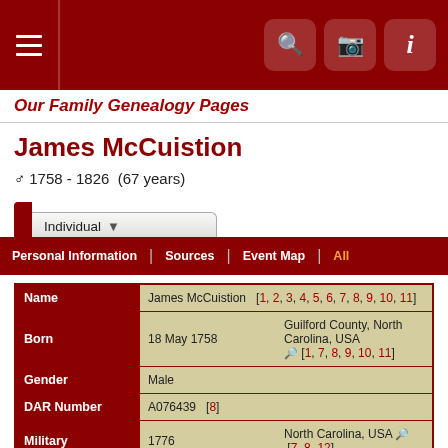Our Family Genealogy Pages
James McCuistion
♂ 1758 - 1826  (67 years)
| Field | Value | Location/Notes |
| --- | --- | --- |
| Name | James McCuistion | [1, 2, 3, 4, 5, 6, 7, 8, 9, 10, 11] |
| Born | 18 May 1758 | Guilford County, North Carolina, USA  [1, 7, 8, 9, 10, 11] |
| Gender | Male |  |
| DAR Number | A076439  [8] |  |
| Military | 1776 | North Carolina, USA  [7, 8, 12] |
| Residence | 1790 | Guilford County, North Carolina, USA  [4] |
| Relocated | 1806 | Davidson County, Tennessee, USA |